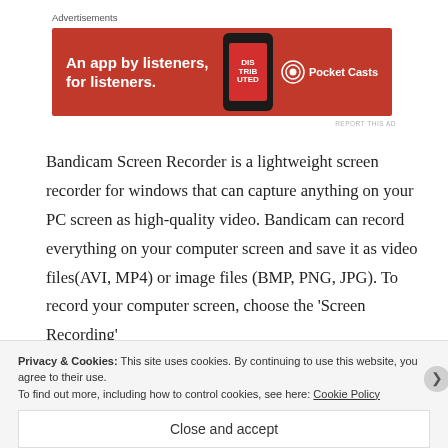Advertisements
[Figure (illustration): Red advertisement banner for Pocket Casts: 'An app by listeners, for listeners.' with phone graphic and Pocket Casts logo]
REPORT THIS AD
Bandicam Screen Recorder is a lightweight screen recorder for windows that can capture anything on your PC screen as high-quality video. Bandicam can record everything on your computer screen and save it as video files(AVI, MP4) or image files (BMP, PNG, JPG). To record your computer screen, choose the ‘Screen Recording’
Privacy & Cookies: This site uses cookies. By continuing to use this website, you agree to their use.
To find out more, including how to control cookies, see here: Cookie Policy
Close and accept